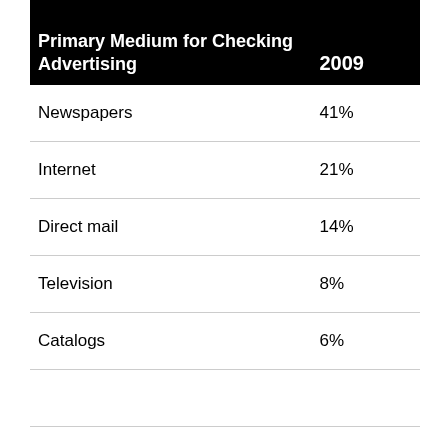| Primary Medium for Checking Advertising | 2009 |
| --- | --- |
| Newspapers | 41% |
| Internet | 21% |
| Direct mail | 14% |
| Television | 8% |
| Catalogs | 6% |